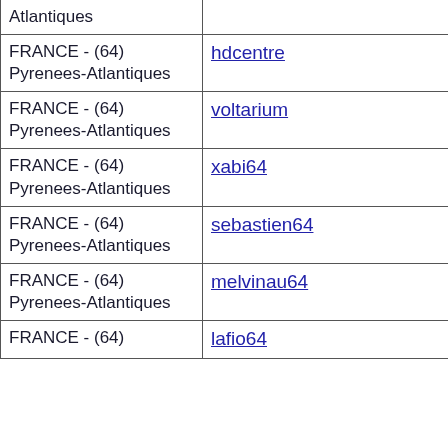| Location | User |
| --- | --- |
| Atlantiques |  |
| FRANCE - (64) Pyrenees-Atlantiques | hdcentre |
| FRANCE - (64) Pyrenees-Atlantiques | voltarium |
| FRANCE - (64) Pyrenees-Atlantiques | xabi64 |
| FRANCE - (64) Pyrenees-Atlantiques | sebastien64 |
| FRANCE - (64) Pyrenees-Atlantiques | melvinau64 |
| FRANCE - (64) | lafio64 |